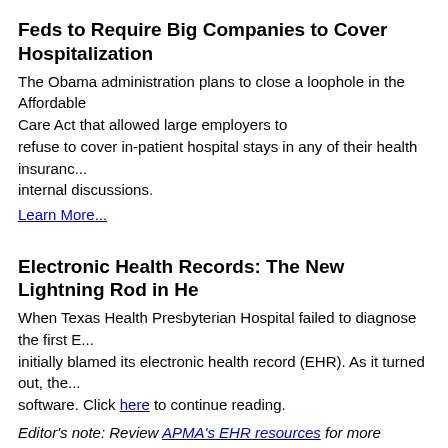Feds to Require Big Companies to Cover Hospitalization
The Obama administration plans to close a loophole in the Affordable Care Act that allowed large employers to refuse to cover in-patient hospital stays in any of their health insurance plans, according to people familiar with internal discussions.
Learn More...
Electronic Health Records: The New Lightning Rod in He...
When Texas Health Presbyterian Hospital failed to diagnose the first Ebola patient in the U.S., the hospital initially blamed its electronic health record (EHR). As it turned out, the problem wasn't entirely due to the software. Click here to continue reading.
Editor's note: Review APMA's EHR resources for more information on...
CHIME: CIOs Policy Agenda to Focus on Meaningful Use...
At the College of Healthcare Information Management Executives' 20... said the policy agenda for health care CIOs is focused around meaning... safety. Click here to continue reading.